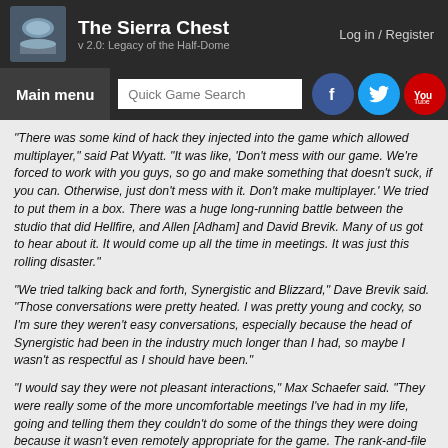The Sierra Chest v 2.0: Legacy of the Half-Dome | Log in / Register
"There was some kind of hack they injected into the game which allowed multiplayer," said Pat Wyatt. "It was like, 'Don't mess with our game. We're forced to work with you guys, so go and make something that doesn't suck, if you can. Otherwise, just don't mess with it. Don't make multiplayer.' We tried to put them in a box. There was a huge long-running battle between the studio that did Hellfire, and Allen [Adham] and David Brevik. Many of us got to hear about it. It would come up all the time in meetings. It was just this rolling disaster."
"We tried talking back and forth, Synergistic and Blizzard," Dave Brevik said. "Those conversations were pretty heated. I was pretty young and cocky, so I'm sure they weren't easy conversations, especially because the head of Synergistic had been in the industry much longer than I had, so maybe I wasn't as respectful as I should have been."
"I would say they were not pleasant interactions," Max Schaefer said. "They were really some of the more uncomfortable meetings I've had in my life, going and telling them they couldn't do some of the things they were doing because it wasn't even remotely appropriate for the game. The rank-and-file guys I'm sure we had much more pleasant interactions with, but the upper management was very resistant to our input, and very hostile and confrontational."